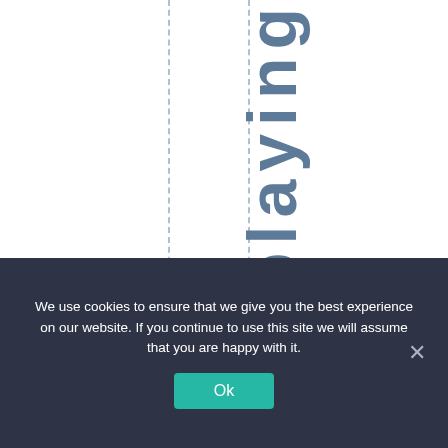[Figure (other): Vertical rotated text reading 'h e p l a y i n s p' in large bold teal-gray letters, with two vertical dashed guide lines flanking the text column on a white background.]
We use cookies to ensure that we give you the best experience on our website. If you continue to use this site we will assume that you are happy with it.
Ok